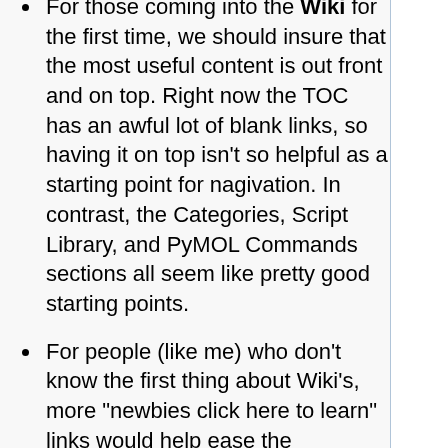For those coming into the Wiki for the first time, we should insure that the most useful content is out front and on top. Right now the TOC has an awful lot of blank links, so having it on top isn't so helpful as a starting point for nagivation. In contrast, the Categories, Script Library, and PyMOL Commands sections all seem like pretty good starting points.
For people (like me) who don't know the first thing about Wiki's, more "newbies click here to learn" links would help ease the transition...
Categories & subcategories confuse me. The resulting titles baffle. For example, Category: Using Pymol Objects and Selections Working with Objects. Shouldn't there be another colon in there? Category: